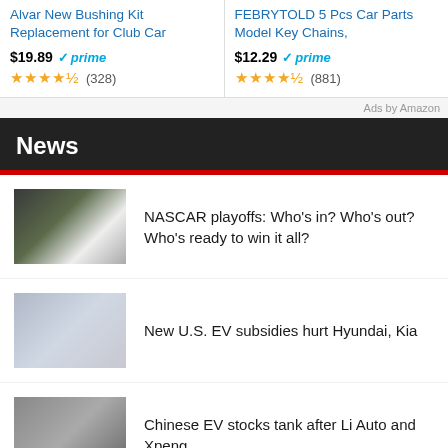Alvar New Bushing Kit Replacement for Club Car
FEBRYTOLD 5 Pcs Car Parts Model Key Chains,
Ads by Amazon
News
NASCAR playoffs: Who’s in? Who’s out? Who’s ready to win it all?
New U.S. EV subsidies hurt Hyundai, Kia
Chinese EV stocks tank after Li Auto and Xpeng